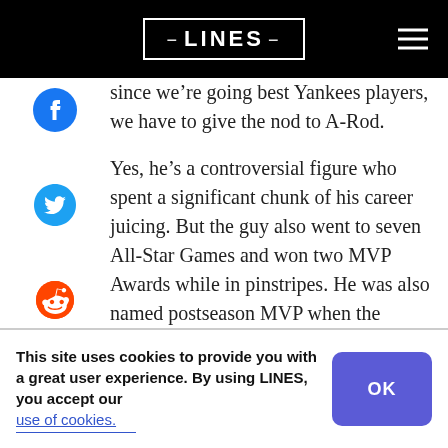LINES
since we’re going best Yankees players, we have to give the nod to A-Rod.
Yes, he’s a controversial figure who spent a significant chunk of his career juicing. But the guy also went to seven All-Star Games and won two MVP Awards while in pinstripes. He was also named postseason MVP when the Yankees won the 2009 World Series. As a figure in Yankees history,
This site uses cookies to provide you with a great user experience. By using LINES, you accept our use of cookies.